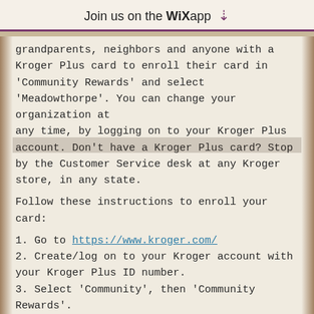Join us on the WiX app ⬇
grandparents, neighbors and anyone with a Kroger Plus card to enroll their card in 'Community Rewards' and select 'Meadowthorpe'. You can change your organization at any time, by logging on to your Kroger Plus account. Don't have a Kroger Plus card? Stop by the Customer Service desk at any Kroger store, in any state.
Follow these instructions to enroll your card:
1. Go to https://www.kroger.com/
2. Create/log on to your Kroger account with your Kroger Plus ID number.
3. Select 'Community', then 'Community Rewards'.